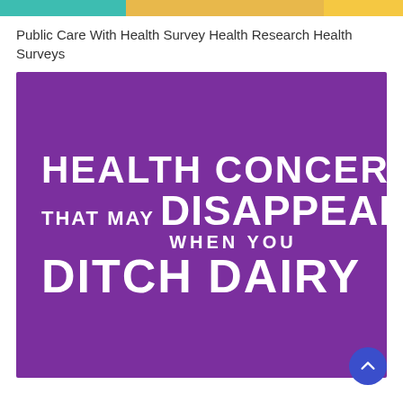Public Care With Health Survey Health Research Health Surveys
[Figure (illustration): Purple rectangular image with white bold uppercase text reading: HEALTH CONCERNS THAT MAY DISAPPEAR WHEN YOU DITCH DAIRY]